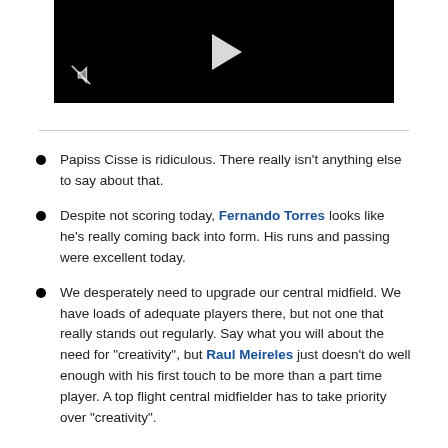[Figure (screenshot): Black video player with play button and mute icon]
Papiss Cisse is ridiculous. There really isn't anything else to say about that.
Despite not scoring today, Fernando Torres looks like he's really coming back into form. His runs and passing were excellent today.
We desperately need to upgrade our central midfield. We have loads of adequate players there, but not one that really stands out regularly. Say what you will about the need for "creativity", but Raul Meireles just doesn't do well enough with his first touch to be more than a part time player. A top flight central midfielder has to take priority over "creativity".